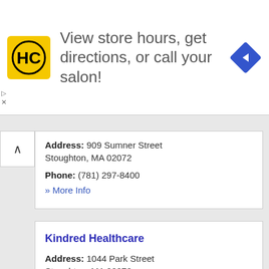[Figure (infographic): Advertisement banner: HC logo (yellow square with HC text), text 'View store hours, get directions, or call your salon!', blue diamond navigation icon]
Address: 909 Sumner Street Stoughton, MA 02072
Phone: (781) 297-8400
» More Info
Kindred Healthcare
Address: 1044 Park Street Stoughton, MA 02072
Phone: (781) 343-7300
» More Info